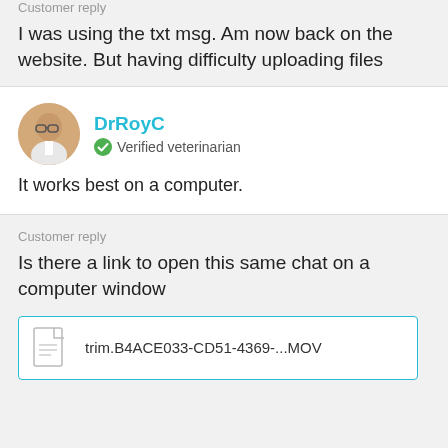Customer reply
I was using the txt msg. Am now back on the website. But having difficulty uploading files
DrRoyC
Verified veterinarian
It works best on a computer.
Customer reply
Is there a link to open this same chat on a computer window
[Figure (other): File attachment box with document icon and filename: trim.B4ACE033-CD51-4369-...MOV]